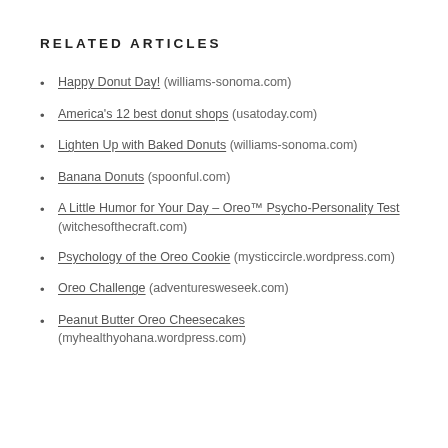RELATED ARTICLES
Happy Donut Day! (williams-sonoma.com)
America's 12 best donut shops (usatoday.com)
Lighten Up with Baked Donuts (williams-sonoma.com)
Banana Donuts (spoonful.com)
A Little Humor for Your Day – Oreo™ Psycho-Personality Test (witchesofthecraft.com)
Psychology of the Oreo Cookie (mysticcircle.wordpress.com)
Oreo Challenge (adventuresweseek.com)
Peanut Butter Oreo Cheesecakes (myhealthyohana.wordpress.com)